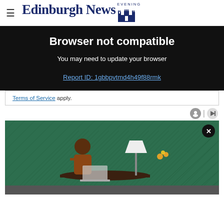Edinburgh Evening News
Browser not compatible
You may need to update your browser
Report ID: 1gbbpvtmd4h49f88rmk
Terms of Service apply.
[Figure (photo): Advertisement showing a woman sitting at a desk with a laptop in a green-walled room with decorative items]